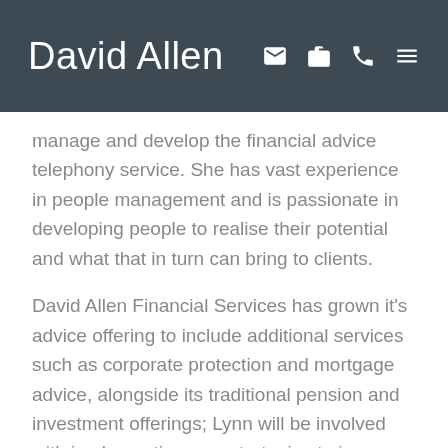David Allen
manage and develop the financial advice telephony service. She has vast experience in people management and is passionate in developing people to realise their potential and what that in turn can bring to clients.
David Allen Financial Services has grown it's advice offering to include additional services such as corporate protection and mortgage advice, alongside its traditional pension and investment offerings; Lynn will be involved with implementing new strategies to improve the way this advice is offered to our clients, to embrace technology and enhance the customer experience in this ever